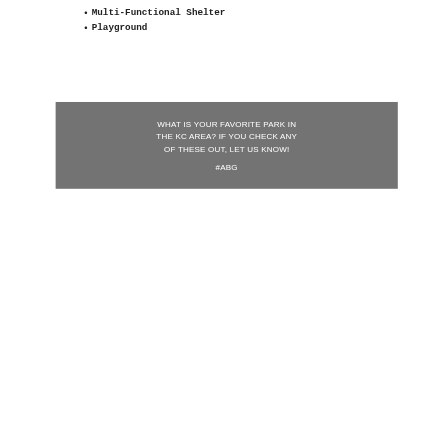Multi-Functional Shelter
Playground
WHAT IS YOUR FAVORITE PARK IN THE KC AREA? IF YOU CHECK ANY OF THESE OUT, LET US KNOW!

#ABG